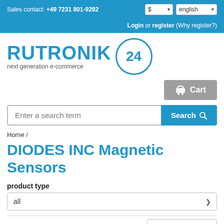Sales contact: +49 7231 801-9292
Login or register (Why register?)
[Figure (logo): RUTRONIK 24 logo with text 'next generation e-commerce']
Cart
Enter a search term  Search
Home /
DIODES INC Magnetic Sensors
product type
all
Type
all